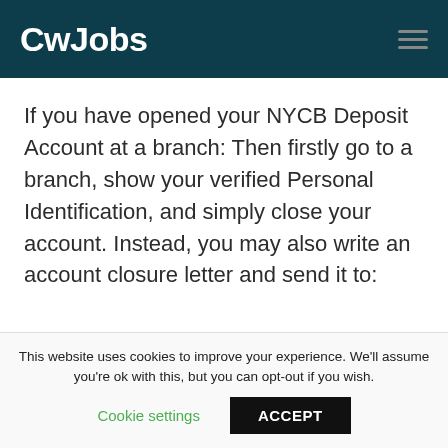CwJobs
If you have opened your NYCB Deposit Account at a branch: Then firstly go to a branch, show your verified Personal Identification, and simply close your account. Instead, you may also write an account closure letter and send it to:
This website uses cookies to improve your experience. We'll assume you're ok with this, but you can opt-out if you wish.
Cookie settings   ACCEPT